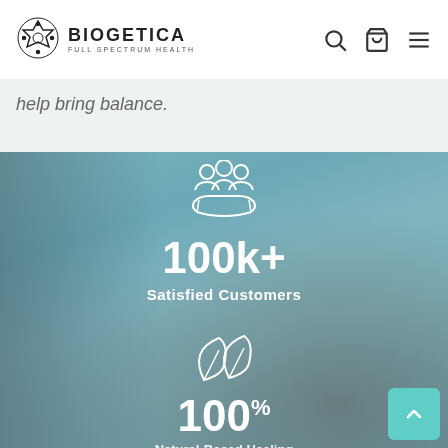[Figure (logo): Biogetica logo: geometric star icon with text BIOGETICA FULL SPECTRUM HEALTH]
help bring balance.
[Figure (infographic): Stat block on teal/blue background showing hand with people icon, 100k+ Satisfied Customers, and leaf icon with 100% below]
100k+
Satisfied Customers
100%